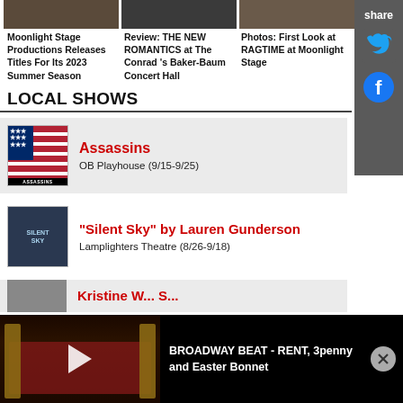[Figure (photo): Three article thumbnail images in a row: performance/stage photos]
Moonlight Stage Productions Releases Titles For Its 2023 Summer Season
Review: THE NEW ROMANTICS at The Conrad 's Baker-Baum Concert Hall
Photos: First Look at RAGTIME at Moonlight Stage
LOCAL SHOWS
[Figure (photo): Assassins show poster thumbnail]
Assassins
OB Playhouse (9/15-9/25)
[Figure (photo): Silent Sky show poster thumbnail]
"Silent Sky" by Lauren Gunderson
Lamplighters Theatre (8/26-9/18)
[Figure (photo): Kristine... (partially visible show row)]
[Figure (screenshot): Video player bar at bottom: Broadway Beat - RENT, 3penny and Easter Bonnet with theater interior thumbnail]
BROADWAY BEAT - RENT, 3penny and Easter Bonnet